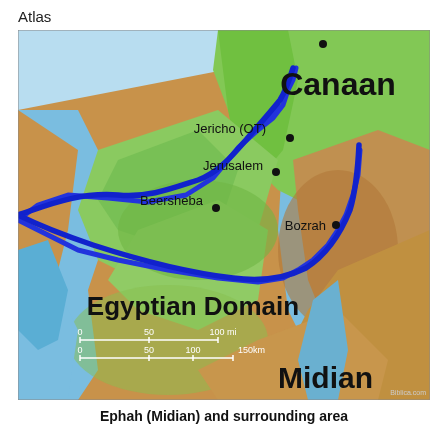Atlas
[Figure (map): Topographic map showing the ancient Near East region including Canaan, Egyptian Domain, and Midian. A blue boundary line delineates the Egyptian Domain. Cities marked include Jericho (OT), Jerusalem, Beersheba, and Bozrah. The map shows terrain with greens in northern/coastal areas and oranges/browns in southern/eastern desert areas. Scale bars shown at bottom left.]
Ephah (Midian) and surrounding area